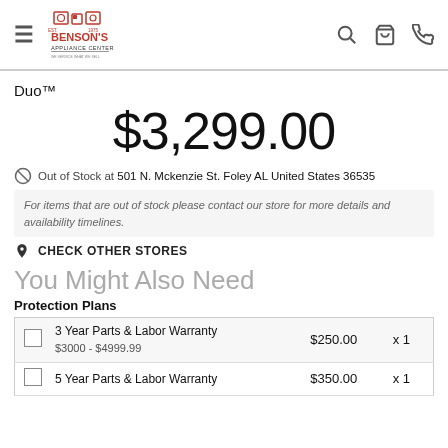Benson's Appliance Center
Duo™
$3,299.00
Out of Stock at 501 N. Mckenzie St. Foley AL United States 36535
For items that are out of stock please contact our store for more details and availability timelines.
CHECK OTHER STORES
You Might Also Need
Protection Plans
|  | Plan | Price | Qty |
| --- | --- | --- | --- |
|  | 3 Year Parts & Labor Warranty
$3000 - $4999.99 | $250.00 | x 1 |
|  | 5 Year Parts & Labor Warranty | $350.00 | x 1 |